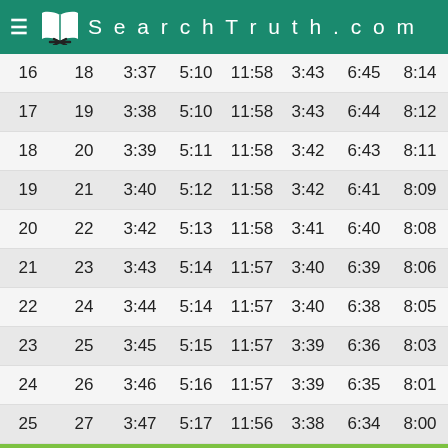SearchTruth.com
| 16 | 18 | 3:37 | 5:10 | 11:58 | 3:43 | 6:45 | 8:14 |
| 17 | 19 | 3:38 | 5:10 | 11:58 | 3:43 | 6:44 | 8:12 |
| 18 | 20 | 3:39 | 5:11 | 11:58 | 3:42 | 6:43 | 8:11 |
| 19 | 21 | 3:40 | 5:12 | 11:58 | 3:42 | 6:41 | 8:09 |
| 20 | 22 | 3:42 | 5:13 | 11:58 | 3:41 | 6:40 | 8:08 |
| 21 | 23 | 3:43 | 5:14 | 11:57 | 3:40 | 6:39 | 8:06 |
| 22 | 24 | 3:44 | 5:14 | 11:57 | 3:40 | 6:38 | 8:05 |
| 23 | 25 | 3:45 | 5:15 | 11:57 | 3:39 | 6:36 | 8:03 |
| 24 | 26 | 3:46 | 5:16 | 11:57 | 3:39 | 6:35 | 8:01 |
| 25 | 27 | 3:47 | 5:17 | 11:56 | 3:38 | 6:34 | 8:00 |
| 26 | 28 | 3:48 | 5:18 | 11:56 | 3:37 | 6:32 | 7:58 |